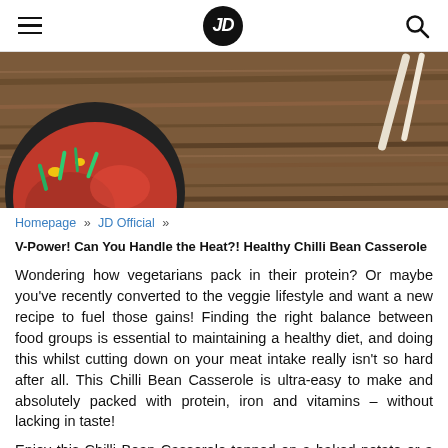JD (logo) — navigation bar with hamburger menu and search icon
[Figure (photo): Hero image showing a bowl of chilli bean casserole with green onion garnish on a wooden surface, partially cropped]
Homepage » JD Official »
V-Power! Can You Handle the Heat?! Healthy Chilli Bean Casserole
Wondering how vegetarians pack in their protein? Or maybe you've recently converted to the veggie lifestyle and want a new recipe to fuel those gains! Finding the right balance between food groups is essential to maintaining a healthy diet, and doing this whilst cutting down on your meat intake really isn't so hard after all. This Chilli Bean Casserole is ultra-easy to make and absolutely packed with protein, iron and vitamins – without lacking in taste!
Enjoy this Chilli Bean Casserole topped on a baked potato or a serving of brown rice. This recipe serves